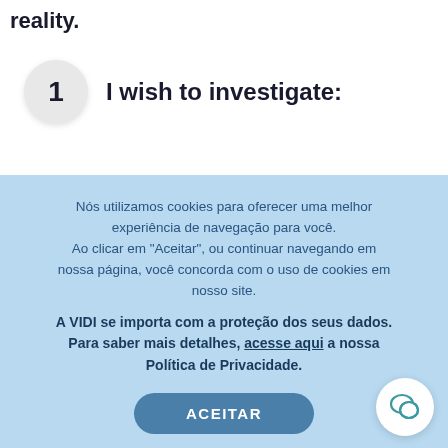reality.
1   I wish to investigate:
Nós utilizamos cookies para oferecer uma melhor experiência de navegação para você. Ao clicar em "Aceitar", ou continuar navegando em nossa página, você concorda com o uso de cookies em nosso site.
A VIDI se importa com a proteção dos seus dados. Para saber mais detalhes, acesse aqui a nossa Política de Privacidade.
ACEITAR